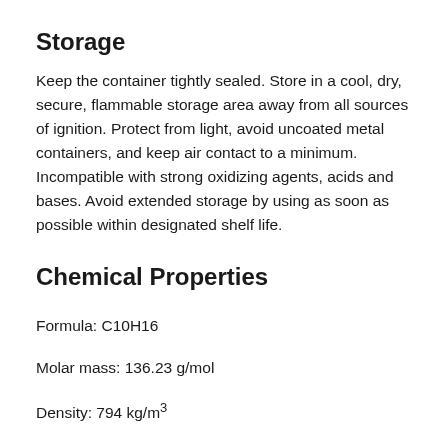Storage
Keep the container tightly sealed. Store in a cool, dry, secure, flammable storage area away from all sources of ignition. Protect from light, avoid uncoated metal containers, and keep air contact to a minimum. Incompatible with strong oxidizing agents, acids and bases. Avoid extended storage by using as soon as possible within designated shelf life.
Chemical Properties
Formula: C10H16
Molar mass: 136.23 g/mol
Density: 794 kg/m³
Boiling point: 167 °C